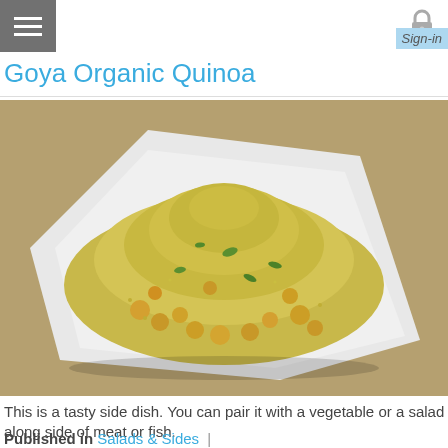Hamburger menu | Sign-in
Goya Organic Quinoa
[Figure (photo): A white square plate with a mound of cooked quinoa mixed with chickpeas and green herbs, photographed against a warm tan/brown background.]
This is a tasty side dish. You can pair it with a vegetable or a salad along side of meat or fish.
Published in Salads & Sides |